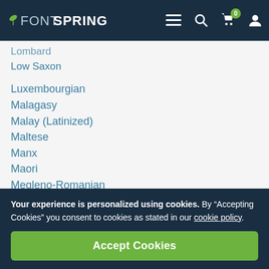FONTSPRING
Lombard
Low Saxon
Luxembourgian
Malagasy
Malay (Latinized)
Maltese
Manx
Maori
Megleno-Romanian
Mohawk
Nahuatl
Norfolk/Pitcairn
Your experience is personalized using cookies. By “Accepting Cookies” you consent to cookies as stated in our cookie policy.
Accept Cookies